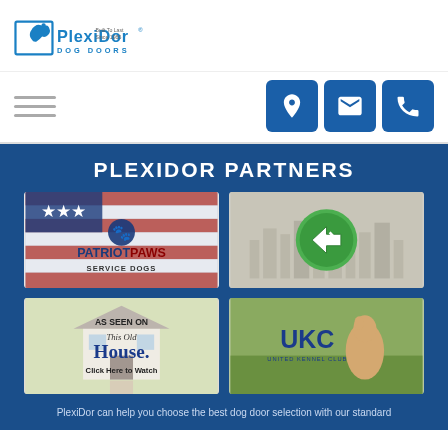[Figure (logo): PlexiDor Dog Doors logo with dog silhouette and text 'Built To Last Since 1985']
[Figure (infographic): Hamburger menu icon (three horizontal lines) and three blue icon buttons: location pin, envelope/email, phone]
PLEXIDOR PARTNERS
[Figure (logo): Patriot Paws Service Dogs logo with American flag and paw prints]
[Figure (logo): Green circular logo with city skyline background]
[Figure (logo): As Seen On This Old House - Click Here to Watch, with house background]
[Figure (logo): UKC United Kennel Club logo with a dog in a field]
PlexiDor can help you choose the best dog door selection with our standard